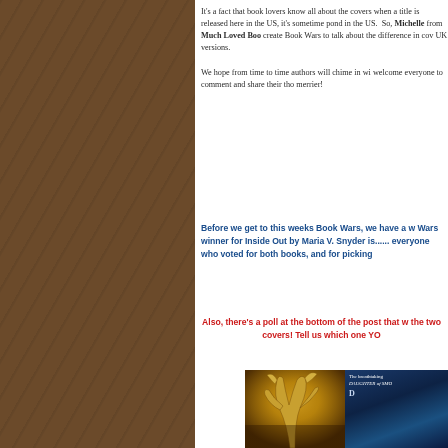It's a fact that book lovers know all about the covers when a title is released here in the US, it's sometimes pond in the US.  So, Michelle from Much Loved Boo create Book Wars to talk about the difference in cov UK versions.
We hope from time to time authors will chime in wi welcome everyone to comment and share their tho merrier!
Before we get to this weeks Book Wars, we have a w Wars winner for Inside Out by Maria V. Snyder is...... everyone who voted for both books, and for picking
Also, there's a poll at the bottom of the post that w the two covers! Tell us which one YO
[Figure (photo): Two book covers side by side. Left cover shows golden/brown antler or claw-like design. Right cover shows a dark blue background with text reading 'The breathtaking DAUGHTER of SMO' and partial title 'D' visible.]